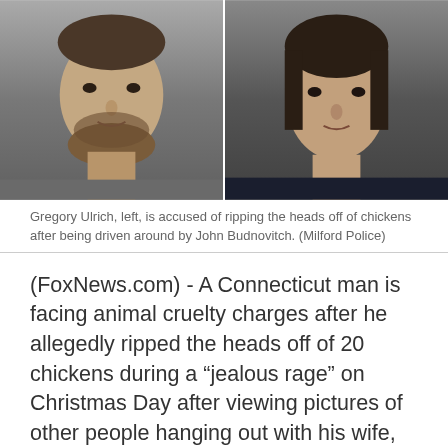[Figure (photo): Two mugshot photos side by side: Gregory Ulrich on the left wearing a grey shirt, and John Budnovitch on the right wearing a dark navy shirt. Both are young men facing forward.]
Gregory Ulrich, left, is accused of ripping the heads off of chickens after being driven around by John Budnovitch. (Milford Police)
(FoxNews.com) - A Connecticut man is facing animal cruelty charges after he allegedly ripped the heads off of 20 chickens during a “jealous rage” on Christmas Day after viewing pictures of other people hanging out with his wife, police say.
Authorities in Milford said Gregory Ulrich, 28, also smashed the windows of cars with an ax while leaning out of a car driven by John Budnovitch, 21.
“Ulrich was highly intoxicated and was in a jealous